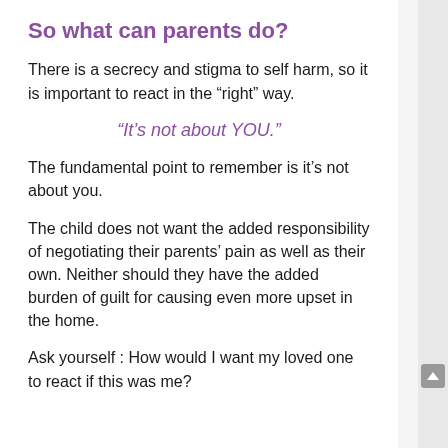So what can parents do?
There is a secrecy and stigma to self harm, so it is important to react in the “right” way.
“It’s not about YOU.”
The fundamental point to remember is it’s not about you.
The child does not want the added responsibility of negotiating their parents’ pain as well as their own. Neither should they have the added burden of guilt for causing even more upset in the home.
Ask yourself : How would I want my loved one to react if this was me?